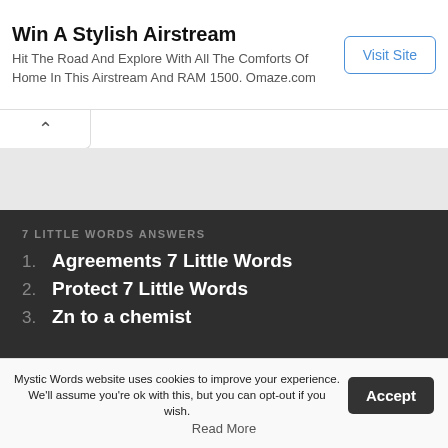Win A Stylish Airstream
Hit The Road And Explore With All The Comforts Of Home In This Airstream And RAM 1500. Omaze.com
Visit Site
7 LITTLE WORDS ANSWERS
1. Agreements 7 Little Words
2. Protect 7 Little Words
3. Zn to a chemist
Mystic Words website uses cookies to improve your experience. We'll assume you're ok with this, but you can opt-out if you wish. Accept
Read More